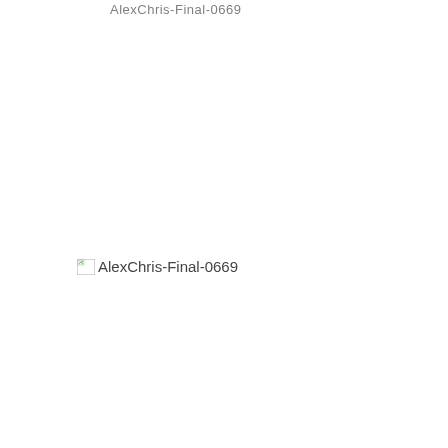AlexChris-Final-0669
[Figure (photo): Broken image placeholder with alt text 'AlexChris-Final-0669' and a small image icon in the upper left corner]